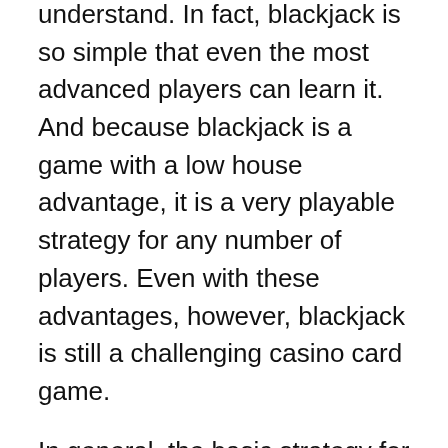understand. In fact, blackjack is so simple that even the most advanced players can learn it. And because blackjack is a game with a low house advantage, it is a very playable strategy for any number of players. Even with these advantages, however, blackjack is still a challenging casino card game.
In general, the basic strategy for blackjack revolves around the notion of long-run bets. Your (players) biggest hand is illustrated in the top column of your basic Blackjack strategy diagram. The second row above the basic strategy diagram represents the amount of money bet by you. You must, of course, go for the highest bet in the corresponding column, which is located at the top-right corner of your turn signal.